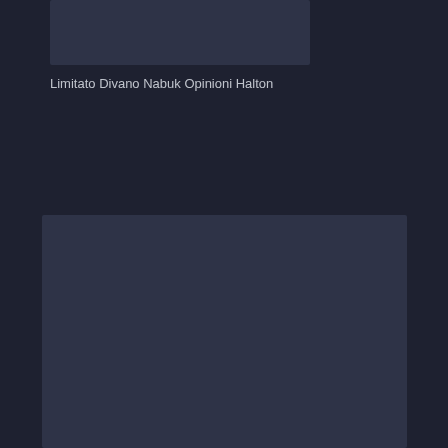[Figure (photo): Top image area showing a product image placeholder with dark background]
Limitato Divano Nabuk Opinioni Halton
[Figure (photo): Main large image area showing a product or content placeholder with dark background]